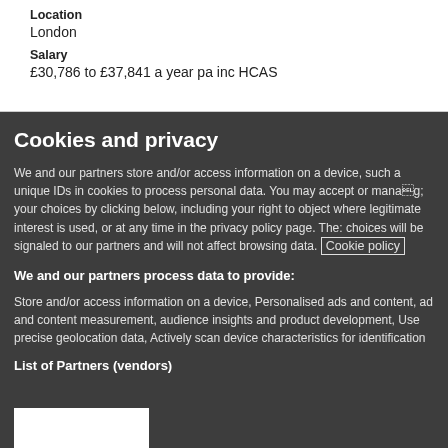Location
London
Salary
£30,786 to £37,841 a year pa inc HCAS
Cookies and privacy
We and our partners store and/or access information on a device, such as unique IDs in cookies to process personal data. You may accept or manage your choices by clicking below, including your right to object where legitimate interest is used, or at any time in the privacy policy page. These choices will be signaled to our partners and will not affect browsing data. Cookie policy
We and our partners process data to provide:
Store and/or access information on a device, Personalised ads and content, ad and content measurement, audience insights and product development, Use precise geolocation data, Actively scan device characteristics for identification
List of Partners (vendors)